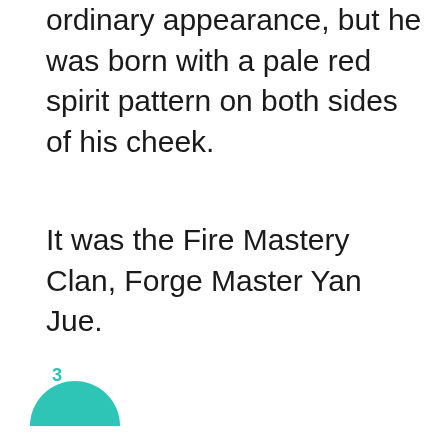ordinary appearance, but he was born with a pale red spirit pattern on both sides of his cheek.
It was the Fire Mastery Clan, Forge Master Yan Jue.
3